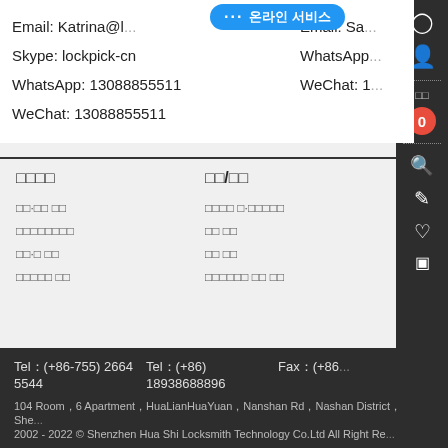Email: Katrina@l...
Skype: lockpick-cn
WhatsApp: 13088855511
WeChat: 13088855511
Email: Sa...
WhatsApp:
WeChat: 1
□□□□
□□/□□
□□·□□ □□
□□□□□□□□
□□·□ □□
□□□□□ □□
□□□□ □·□□□□□
□□ □□
□□ □□
□□□□□□ □□ □□
Tel：(+86-755) 2664 5544    Tel：(+86) 18938688896    Fax：(+86...
104 Room，6 Apartment，HuaLianHuaYuan，Nanshan Rd，Nashan District，She...
2002 - 2022 © Shenzhen Hua Shi Locksmith Technology Co.Ltd All Right Re...